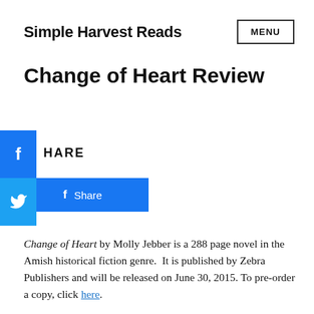Simple Harvest Reads   MENU
Change of Heart Review
SHARE
f  Share
Change of Heart by Molly Jebber is a 288 page novel in the Amish historical fiction genre.  It is published by Zebra Publishers and will be released on June 30, 2015. To pre-order a copy, click here.